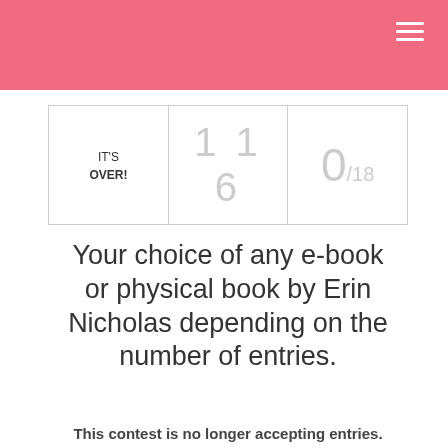| IT'S OVER! | 116 | 0/18 |
| --- | --- | --- |
Your choice of any e-book or physical book by Erin Nicholas depending on the number of entries.
This contest is no longer accepting entries.